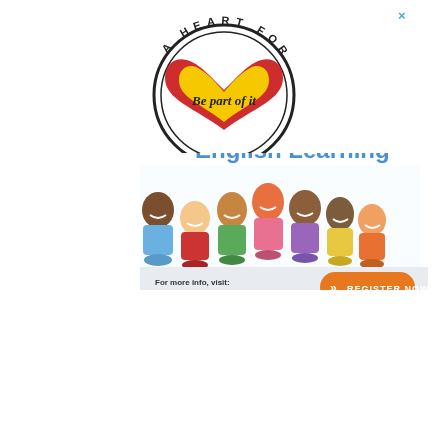[Figure (illustration): Global From Asia KIDS online English learning advertisement banner with cartoon children smiling, logo top left, decorative circles top right, register now button and website URL at bottom]
[Figure (logo): A Heart For China circular logo with text curved around the circle, red and yellow heart shape in center, cursive text 'Be part of it' inside the heart]